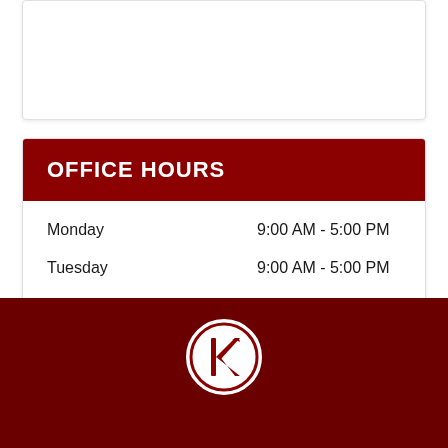OFFICE HOURS
| Day | Hours |
| --- | --- |
| Monday | 9:00 AM - 5:00 PM |
| Tuesday | 9:00 AM - 5:00 PM |
| Wednesday | 9:00 AM - 5:00 PM |
| Thursday | 9:00 AM - 5:00 PM |
| Friday | 9:00 AM - 12:00 PM |
[Figure (logo): Circular logo with a stylized K and leaf design in dark red on white background]